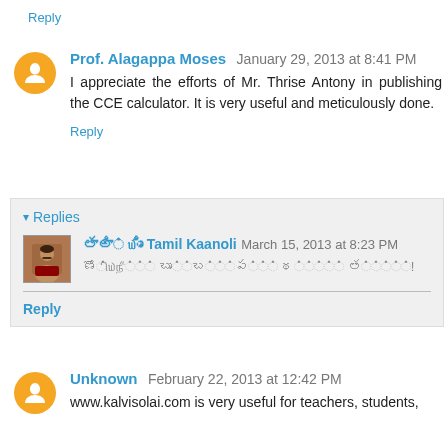Reply
Prof. Alagappa Moses  January 29, 2013 at 8:41 PM
I appreciate the efforts of Mr. Thrise Antony in publishing the CCE calculator. It is very useful and meticulously done.
Reply
Replies
தமிழ் கணலி Tamil Kaanoli  March 15, 2013 at 8:23 PM
உங்களுக்கு மிக்கத்திரு நன்றி சொல்கிறோம்!
Reply
Unknown  February 22, 2013 at 12:42 PM
www.kalvisolai.com is very useful for teachers, students,